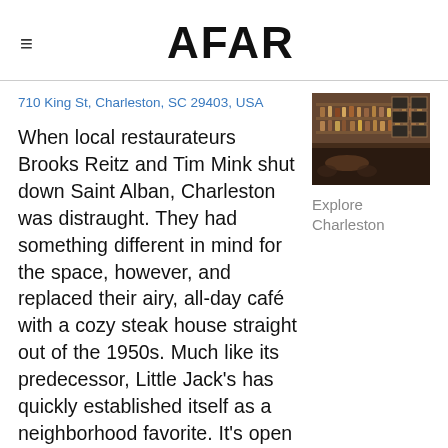AFAR
710 King St, Charleston, SC 29403, USA
[Figure (photo): Interior of a bar/restaurant with shelves of bottles and framed pictures on the wall]
Explore Charleston
When local restaurateurs Brooks Reitz and Tim Mink shut down Saint Alban, Charleston was distraught. They had something different in mind for the space, however, and replaced their airy, all-day café with a cozy steak house straight out of the 1950s. Much like its predecessor, Little Jack's has quickly established itself as a neighborhood favorite. It's open every day from 11 a.m. until late in the evening and serves classic, meat-heavy dishes (steak, sliders, pastrami) alongside